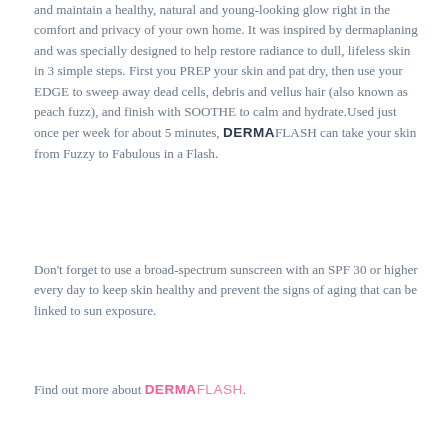and maintain a healthy, natural and young-looking glow right in the comfort and privacy of your own home. It was inspired by dermaplaning and was specially designed to help restore radiance to dull, lifeless skin in 3 simple steps. First you PREP your skin and pat dry, then use your EDGE to sweep away dead cells, debris and vellus hair (also known as peach fuzz), and finish with SOOTHE to calm and hydrate.Used just once per week for about 5 minutes, DERMAFLASH can take your skin from Fuzzy to Fabulous in a Flash.
Don't forget to use a broad-spectrum sunscreen with an SPF 30 or higher every day to keep skin healthy and prevent the signs of aging that can be linked to sun exposure.
Find out more about DERMAFLASH.